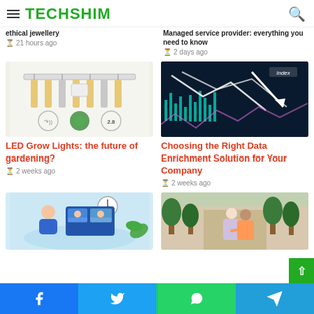TECHSHIM
21 hours ago
2 days ago
[Figure (photo): LED grow light panel with Bluetooth, smart controls, and 2.8 label, shown against white background]
LED Grow Lights: the future of gardening?
2 weeks ago
[Figure (photo): Financial market data chart with glowing teal candlestick chart, white trend arrows pointing down, Index label in top right]
Choosing the Right Data Enrichment Solution for Your Company
2 weeks ago
[Figure (illustration): Cartoon illustration of person with clock and video call interface with faces, light blue background]
[Figure (photo): Elderly woman assisted by younger caregiver outside building with trees]
Facebook | Twitter | WhatsApp | Telegram social share buttons